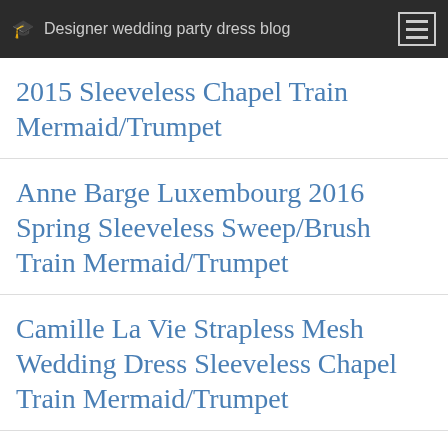Designer wedding party dress blog
2015 Sleeveless Chapel Train Mermaid/Trumpet
Anne Barge Luxembourg 2016 Spring Sleeveless Sweep/Brush Train Mermaid/Trumpet
Camille La Vie Strapless Mesh Wedding Dress Sleeveless Chapel Train Mermaid/Trumpet
Pronovias LAURINA 3/4 Sleeves…